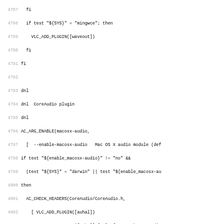Code listing lines 4788-4819, shell/autoconf script for VLC audio plugin configuration including waveout, CoreAudio, and HD1000 audio modules